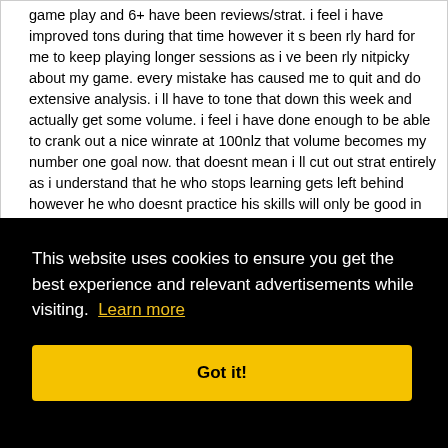game play and 6+ have been reviews/strat. i feel i have improved tons during that time however it s been rly hard for me to keep playing longer sessions as i ve been rly nitpicky about my game. every mistake has caused me to quit and do extensive analysis. i ll have to tone that down this week and actually get some volume. i feel i have done enough to be able to crank out a nice winrate at 100nlz that volume becomes my number one goal now. that doesnt mean i ll cut out strat entirely as i understand that he who stops learning gets left behind however he who doesnt practice his skills will only be good in theory. balance between the two is key and i ll try to find that sweet spot over the next weeks. i would be very happy to put in 100
ed n and of ends
ote
This website uses cookies to ensure you get the best experience and relevant advertisements while visiting. Learn more
Got it!